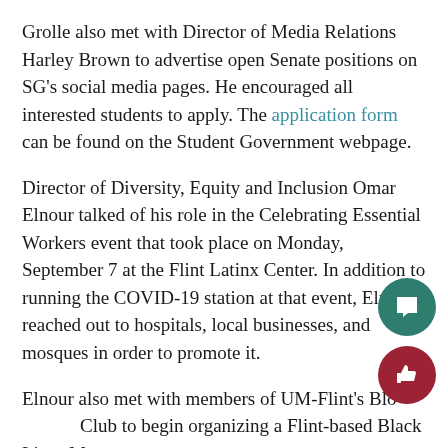Grolle also met with Director of Media Relations Harley Brown to advertise open Senate positions on SG's social media pages. He encouraged all interested students to apply. The application form can be found on the Student Government webpage.
Director of Diversity, Equity and Inclusion Omar Elnour talked of his role in the Celebrating Essential Workers event that took place on Monday, September 7 at the Flint Latinx Center. In addition to running the COVID-19 station at that event, Elnour reached out to hospitals, local businesses, and mosques in order to promote it.
Elnour also met with members of UM-Flint's Blo[ck] Club to begin organizing a Flint-based Black Lives Matter protest.
All Student Government...